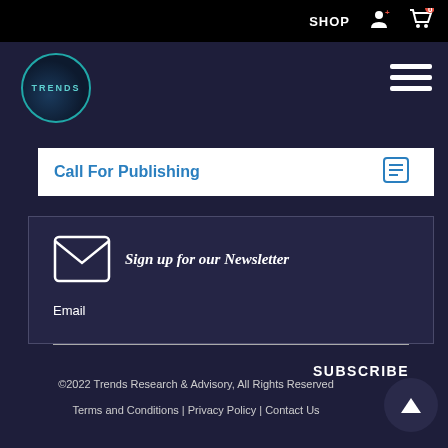SHOP
[Figure (logo): Trends Research & Advisory circular logo with teal border]
Call For Publishing
Sign up for our Newsletter
Email
SUBSCRIBE
©2022 Trends Research & Advisory, All Rights Reserved
Terms and Conditions | Privacy Policy | Contact Us